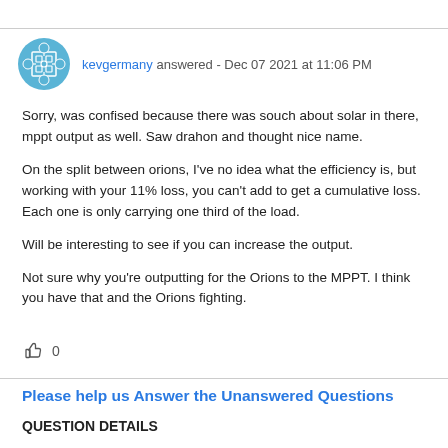kevgermany answered - Dec 07 2021 at 11:06 PM
Sorry, was confised because there was souch about solar in there, mppt output as well. Saw drahon and thought nice name.
On the split between orions, I've no idea what the efficiency is, but working with your 11% loss, you can't add to get a cumulative loss. Each one is only carrying one third of the load.
Will be interesting to see if you can increase the output.
Not sure why you're outputting for the Orions to the MPPT. I think you have that and the Orions fighting.
Please help us Answer the Unanswered Questions
QUESTION DETAILS